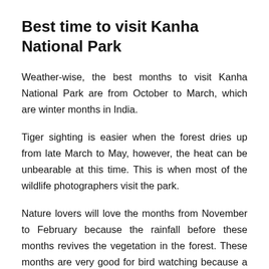Best time to visit Kanha National Park
Weather-wise, the best months to visit Kanha National Park are from October to March, which are winter months in India.
Tiger sighting is easier when the forest dries up from late March to May, however, the heat can be unbearable at this time. This is when most of the wildlife photographers visit the park.
Nature lovers will love the months from November to February because the rainfall before these months revives the vegetation in the forest. These months are very good for bird watching because a lot of migratory birds visit